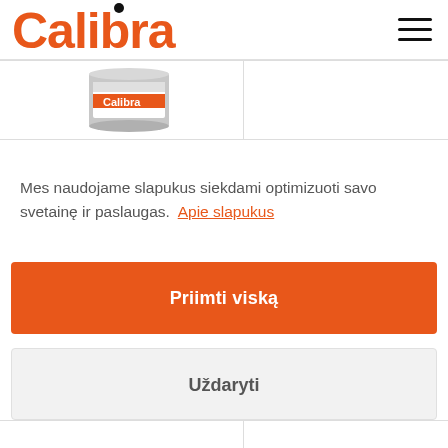[Figure (logo): Calibra brand logo in orange with black dot above the i]
[Figure (photo): Calibra product tin/can partially visible in a product strip]
Mes naudojame slapukus siekdami optimizuoti savo svetainę ir paslaugas.  Apie slapukus
Priimti viską
Uždaryti
Parinktys